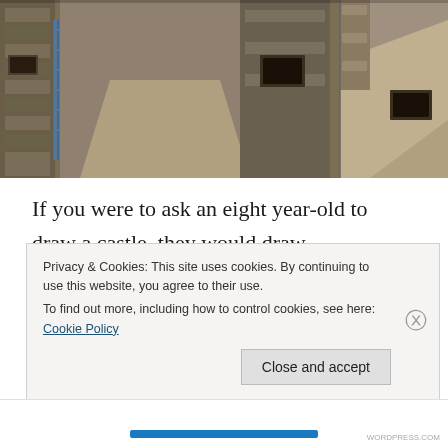[Figure (photo): Photograph of Montebello Castle interior showing stone walls, narrow passages, and a drawbridge/ramp area. Split into two panels showing different views of the medieval stone architecture.]
If you were to ask an eight year-old to draw a castle, they would draw Montebello.  It looks like your stereotypical castle. We climbed the ramparts, posed on the drawbridge and enjoyed the wonderful views.  Montebello’s interior buildings contain a museum with archaeological discoveries and artifacts from Bellinzona that date back to Ro...
Privacy & Cookies: This site uses cookies. By continuing to use this website, you agree to their use.
To find out more, including how to control cookies, see here: Cookie Policy
Close and accept